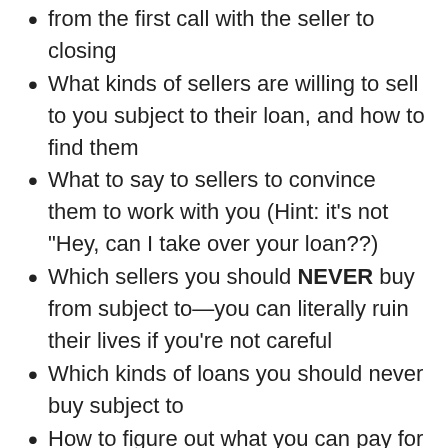from the first call with the seller to closing
What kinds of sellers are willing to sell to you subject to their loan, and how to find them
What to say to sellers to convince them to work with you (Hint: it’s not “Hey, can I take over your loan??)
Which sellers you should NEVER buy from subject to—you can literally ruin their lives if you’re not careful
Which kinds of loans you should never buy subject to
How to figure out what you can pay for a property when the seller lets you take over his loan—it’s a different, more complex calculation than when you’re paying cash
Why the Due on Sale clause isn’t that big a